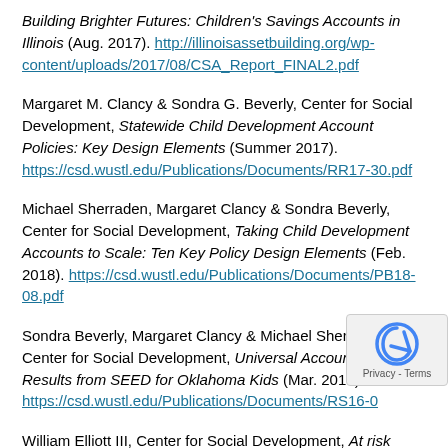Building Brighter Futures: Children's Savings Accounts in Illinois (Aug. 2017). http://illinoisassetbuilding.org/wp-content/uploads/2017/08/CSA_Report_FINAL2.pdf
Margaret M. Clancy & Sondra G. Beverly, Center for Social Development, Statewide Child Development Account Policies: Key Design Elements (Summer 2017). https://csd.wustl.edu/Publications/Documents/RR17-30.pdf
Michael Sherraden, Margaret Clancy & Sondra Beverly, Center for Social Development, Taking Child Development Accounts to Scale: Ten Key Policy Design Elements (Feb. 2018). https://csd.wustl.edu/Publications/Documents/PB18-08.pdf
Sondra Beverly, Margaret Clancy & Michael Sherraden, Center for Social Development, Universal Accounts at birth: Results from SEED for Oklahoma Kids (Mar. 2016). https://csd.wustl.edu/Publications/Documents/RS16-07...
William Elliott III, Center for Social Development, At risk...